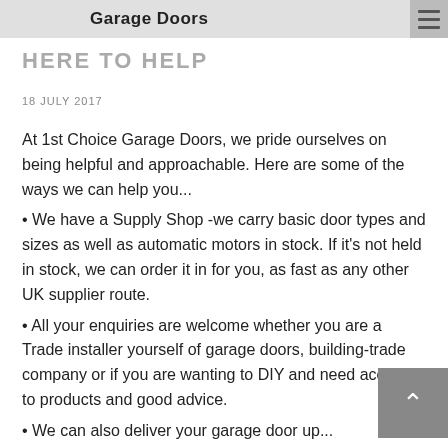Garage Doors
HERE TO HELP
18 JULY 2017
At 1st Choice Garage Doors, we pride ourselves on being helpful and approachable. Here are some of the ways we can help you...
We have a Supply Shop -we carry basic door types and sizes as well as automatic motors in stock. If it's not held in stock, we can order it in for you, as fast as any other UK supplier route.
All your enquiries are welcome whether you are a Trade installer yourself of garage doors, building-trade company or if you are wanting to DIY and need access to products and good advice.
We can also deliver your garage door up...